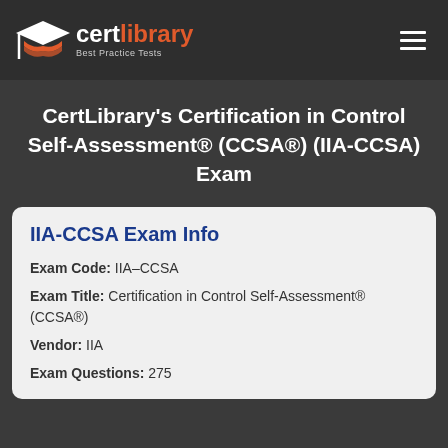[Figure (logo): CertLibrary logo with graduation cap icon, white 'cert' and orange 'library' text, tagline 'Best Practice Tests']
CertLibrary's Certification in Control Self-Assessment® (CCSA®) (IIA-CCSA) Exam
IIA-CCSA Exam Info
Exam Code: IIA-CCSA
Exam Title: Certification in Control Self-Assessment® (CCSA®)
Vendor: IIA
Exam Questions: 275